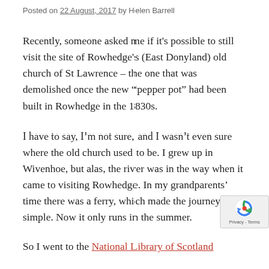Posted on 22 August, 2017 by Helen Barrell
Recently, someone asked me if it's possible to still visit the site of Rowhedge's (East Donyland) old church of St Lawrence – the one that was demolished once the new “pepper pot” had been built in Rowhedge in the 1830s.
I have to say, I’m not sure, and I wasn’t even sure where the old church used to be. I grew up in Wivenhoe, but alas, the river was in the way when it came to visiting Rowhedge. In my grandparents’ time there was a ferry, which made the journey simple. Now it only runs in the summer.
So I went to the National Library of Scotland and ...